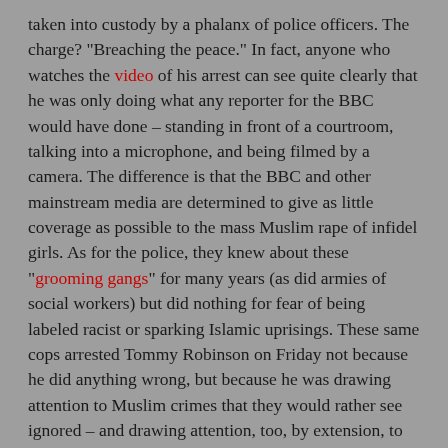taken into custody by a phalanx of police officers. The charge? "Breaching the peace." In fact, anyone who watches the video of his arrest can see quite clearly that he was only doing what any reporter for the BBC would have done – standing in front of a courtroom, talking into a microphone, and being filmed by a camera. The difference is that the BBC and other mainstream media are determined to give as little coverage as possible to the mass Muslim rape of infidel girls. As for the police, they knew about these "grooming gangs" for many years (as did armies of social workers) but did nothing for fear of being labeled racist or sparking Islamic uprisings. These same cops arrested Tommy Robinson on Friday not because he did anything wrong, but because he was drawing attention to Muslim crimes that they would rather see ignored – and drawing attention, too, by extension, to their own genuinely criminal failure to defend innocent children from what was essentially jihadist torture.
It gets worse. Within hours, according to some sources, Robinson was tried and sentenced to thirteen months in prison. To send him to a British prison, where a very high percentage of inmates are likely to be Muslim, is to condemn him to a life of brutal harassment and, very possibly, a violent death. Even in Islam-